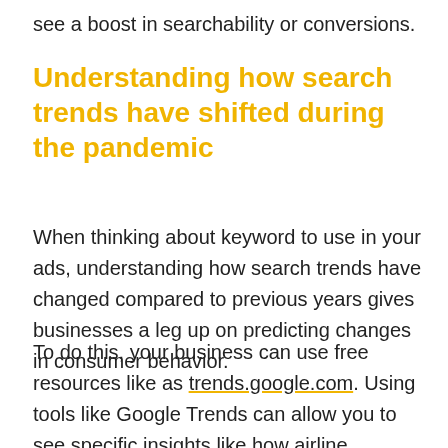see a boost in searchability or conversions.
Understanding how search trends have shifted during the pandemic
When thinking about keyword to use in your ads, understanding how search trends have changed compared to previous years gives businesses a leg up on predicting changes in consumer behavior.
To do this, your business can use free resources like as trends.google.com. Using tools like Google Trends can allow you to see specific insights like how airline searches have changed, or how